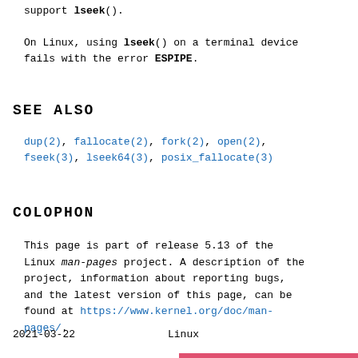support lseek().
On Linux, using lseek() on a terminal device fails with the error ESPIPE.
SEE ALSO
dup(2), fallocate(2), fork(2), open(2), fseek(3), lseek64(3), posix_fallocate(3)
COLOPHON
This page is part of release 5.13 of the Linux man-pages project. A description of the project, information about reporting bugs, and the latest version of this page, can be found at https://www.kernel.org/doc/man-pages/.
2021-03-22                         Linux